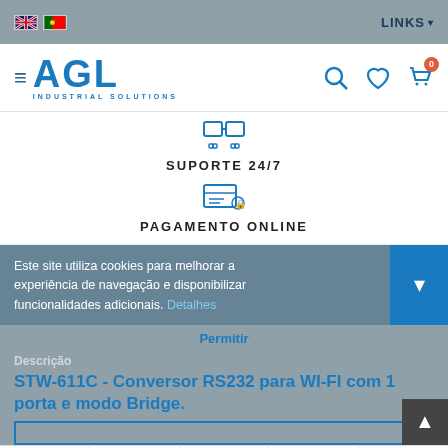AGL Industrial Solutions - LINKS
[Figure (logo): AGL Industrial Solutions logo with hamburger menu icon]
SUPORTE 24/7
PAGAMENTO ONLINE
Este site utiliza cookies para melhorar a experiência de navegação e disponibilizar funcionalidades adicionais. Detalhes
Permitir
Descrição
STW-611C - Conversor RS232 para WI-FI com 1 porta e modo Bridge.
HOME  PRODUTOS  FAVORITOS  CONTA  CONTACTOS